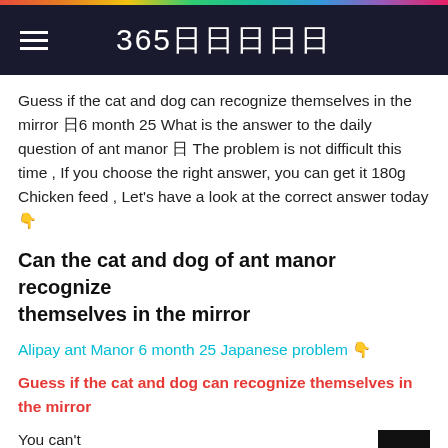365日日日日日
Guess if the cat and dog can recognize themselves in the mirror 日6 month 25 What is the answer to the daily question of ant manor 日 The problem is not difficult this time , If you choose the right answer, you can get it 180g Chicken feed , Let's have a look at the correct answer today 日
Can the cat and dog of ant manor recognize themselves in the mirror
Alipay ant Manor 6 month 25 Japanese problem 日
Guess if the cat and dog can recognize themselves in the mirror
You can't
can